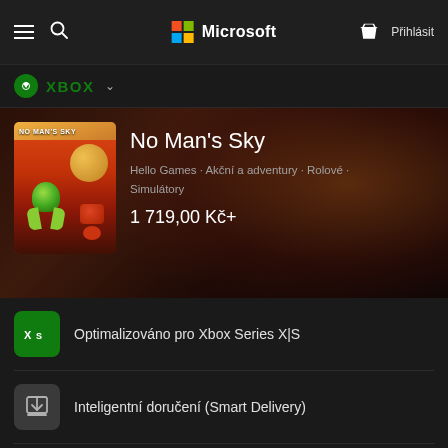Microsoft — Přihlásit
XBOX
No Man's Sky
Hello Games · Akční a adventury · Rolové · Simulátory
1 719,00 Kč+
Optimalizováno pro Xbox Series X|S
Inteligentní doručení (Smart Delivery)
16 Podporované jazyky